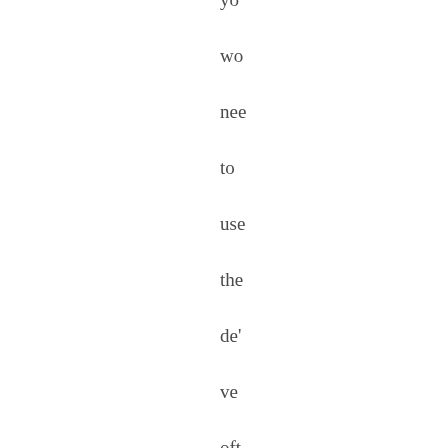yo wo nee to use the de' ve oft to sta a can and sin the cor of the d...